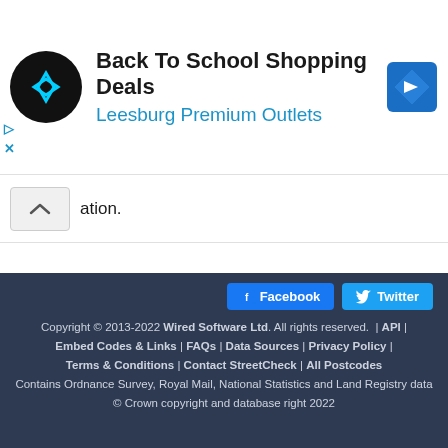[Figure (other): Advertisement banner for Back To School Shopping Deals at Leesburg Premium Outlets, with a circular logo and navigation icon]
ation.
Copyright © 2013-2022 Wired Software Ltd. All rights reserved. | API | Embed Codes & Links | FAQs | Data Sources | Privacy Policy | Terms & Conditions | Contact StreetCheck | All Postcodes
Contains Ordnance Survey, Royal Mail, National Statistics and Land Registry data
© Crown copyright and database right 2022